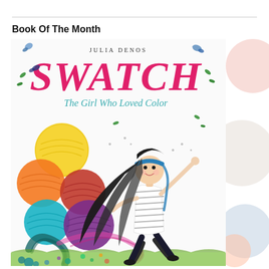Book Of The Month
[Figure (illustration): Book cover of 'Swatch: The Girl Who Loved Color' by Julia Denos, showing a young girl with long black hair, wearing a blue headband and striped shirt, running joyfully among large colorful yarn balls in shades of yellow, orange, red, purple, and teal, with green grass and colorful splatters at the bottom. The title 'SWATCH' is in large pink letters and the subtitle 'The Girl Who Loved Color' is in teal script.]